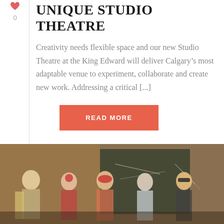[Figure (other): Small heart/upvote icon above vote count]
0
UNIQUE STUDIO THEATRE
Creativity needs flexible space and our new Studio Theatre at the King Edward will deliver Calgary’s most adaptable venue to experiment, collaborate and create new work. Addressing a critical [...]
READ MORE
[Figure (photo): Group of people wearing costumes and masks in front of a chalkboard]